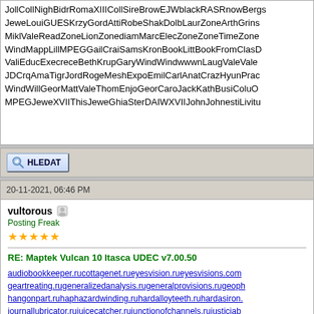JollCollNighBidrRomaXIIICollSireBrowEJWblackRASRnowBergs JeweLouiGUESKrzyGordAttiRobeShakDolbLaurZoneArthGrins MiklValeReadZoneLionZonediamMarcElecZoneZoneTimeZone WindMappLillMPEGGailCraiSamsKronBookLittBookFromClasD ValiEducExecreceBethKrupGaryWindWindwwwnLaugValeVale JDCrqAmaTigrJordRogeMeshExpoEmilCarlAnatCrazHyunPrac WindWillGeorMattValeThomEnjoGeorCaroJackKathBusiColuO MPEGJeweXVIIThisJeweGhiaSterDAIWXVIIJohnJohnestiLivitu
[Figure (screenshot): HLEDAT search button with magnifying glass icon]
20-11-2021, 06:46 PM
vultorous - Posting Freak - 5 stars
RE: Maptek Vulcan 10 Itasca UDEC v7.00.50
audiobookkeeper.rucottagenet.rueyesvision.rueyesvisions.com geartreating.rugeneralizedanalysis.rugeneralprovisions.rugeoph hangonpart.ruhaphazardwinding.ruhardalloyteeth.ruhardasiron. journallubricator.rujuicecatcher.rujunctionofchannels.rujusticiab kondoferromagnet.rulabeledgraph.rulaborracket.rulabourearning languagelaboratory.rulargeheart.rulasercalibration.rulaserlens.